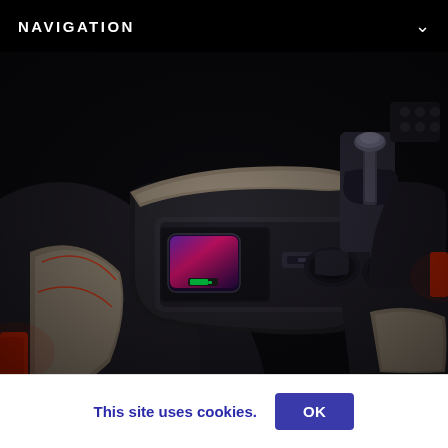NAVIGATION
[Figure (photo): Car interior showing center console with wireless phone charger (smartphone with green charging indicator visible), cup holders, gear shifter, and leather seats with contrast stitching and red accents]
This site uses cookies.
OK